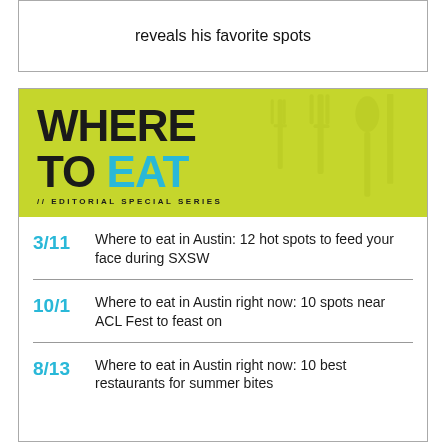reveals his favorite spots
[Figure (illustration): Green banner image reading WHERE TO EAT - An Editorial Special Series with cutlery silhouette background]
3/11  Where to eat in Austin: 12 hot spots to feed your face during SXSW
10/1  Where to eat in Austin right now: 10 spots near ACL Fest to feast on
8/13  Where to eat in Austin right now: 10 best restaurants for summer bites